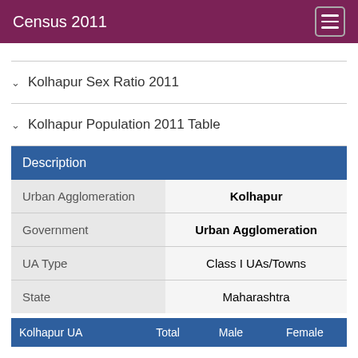Census 2011
Kolhapur Sex Ratio 2011
Kolhapur Population 2011 Table
| Description |  |
| --- | --- |
| Urban Agglomeration | Kolhapur |
| Government | Urban Agglomeration |
| UA Type | Class I UAs/Towns |
| State | Maharashtra |
| Kolhapur UA | Total | Male | Female |
| --- | --- | --- | --- |